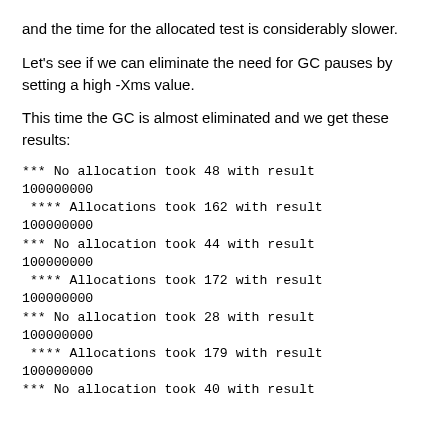and the time for the allocated test is considerably slower.
Let's see if we can eliminate the need for GC pauses by setting a high -Xms value.
This time the GC is almost eliminated and we get these results:
*** No allocation took 48 with result 100000000
 **** Allocations took 162 with result 100000000
*** No allocation took 44 with result 100000000
 **** Allocations took 172 with result 100000000
*** No allocation took 28 with result 100000000
 **** Allocations took 179 with result 100000000
*** No allocation took 40 with result